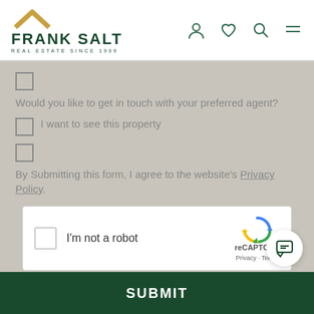[Figure (logo): Frank Salt Real Estate logo with golden chevron and dark green text]
Would you like to get in touch with your preferred agent?
I want to see this property
By Submitting this form, I agree to the website's Privacy Policy.
[Figure (other): reCAPTCHA widget with checkbox, I'm not a robot text, and reCAPTCHA logo]
SUBMIT